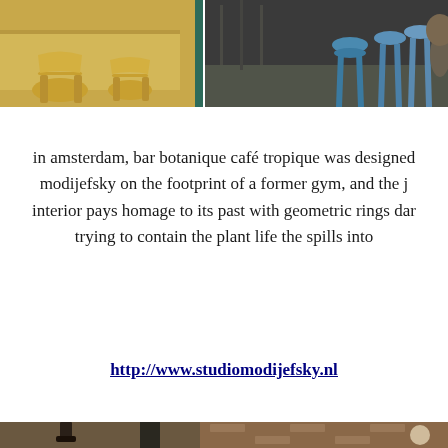[Figure (photo): Interior photo of Bar Botanique Café Tropique in Amsterdam showing wooden tables and chairs on the left and blue bar stools on the right, with green structural elements dividing the space.]
in amsterdam, bar botanique café tropique was designed by modijefsky on the footprint of a former gym, and the interior pays homage to its past with geometric rings dan trying to contain the plant life the spills into
http://www.studiomodijefsky.nl
[Figure (photo): Interior photo of a restaurant showing pendant lights, brick walls, and rounded furniture elements.]